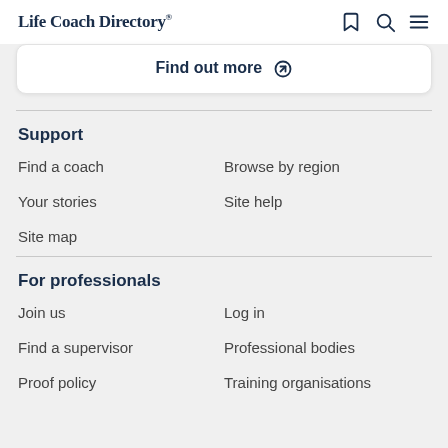Life Coach Directory®
Find out more
Support
Find a coach
Browse by region
Your stories
Site help
Site map
For professionals
Join us
Log in
Find a supervisor
Professional bodies
Proof policy
Training organisations